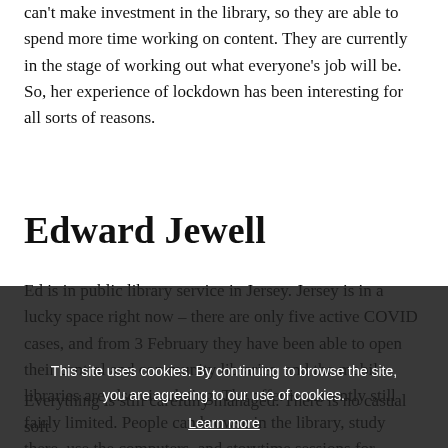can't make investment in the library, so they are able to spend more time working on content. They are currently in the stage of working out what everyone's job will be. So, her experience of lockdown has been interesting for all sorts of reasons.
Edward Jewell
Ed is in public library service in Jersey. Jersey is in a lucky space right now – there are only five active COVID cases, and from 3 February they have been able to open their central and community libraries, and the mobile libraries are also circulating. The offer is currently still fairly limited. People can browse in the library, study there, use the computers, and storytime sessions for children have resumed. They have also started hosting small third-party meetings.
Everything is still carefully managed. There is no casual soft
[Figure (screenshot): Cookie consent overlay with dark semi-transparent background. Text reads: 'This site uses cookies. By continuing to browse the site, you are agreeing to our use of cookies. Learn more' with a green OK button.]